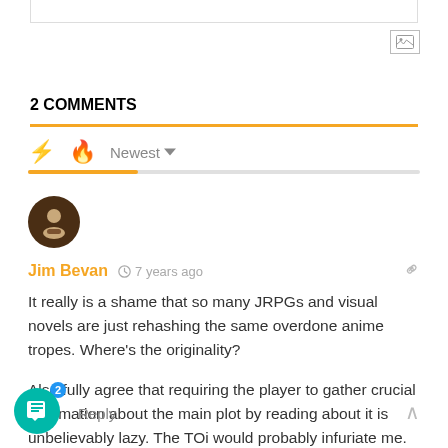2 COMMENTS
Newest
[Figure (illustration): User avatar — dark brown circle with person icon]
Jim Bevan  7 years ago
It really is a shame that so many JRPGs and visual novels are just rehashing the same overdone anime tropes. Where's the originality?

Also fully agree that requiring the player to gather crucial information about the main plot by reading about it is unbelievably lazy. The TOi would probably infuriate me.
Reply